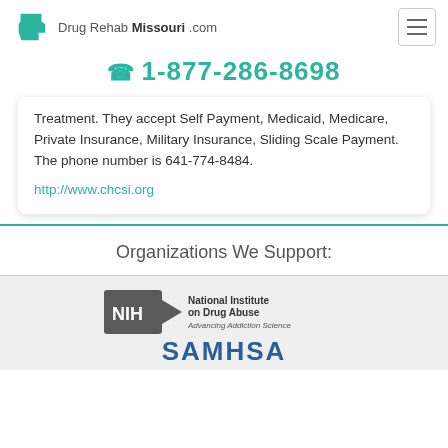Drug Rehab Missouri .com
1-877-286-8698
Treatment. They accept Self Payment, Medicaid, Medicare, Private Insurance, Military Insurance, Sliding Scale Payment. The phone number is 641-774-8484. http://www.chcsi.org
Organizations We Support:
[Figure (logo): NIH National Institute on Drug Abuse — Advancing Addiction Science logo, and SAMHSA logo below]